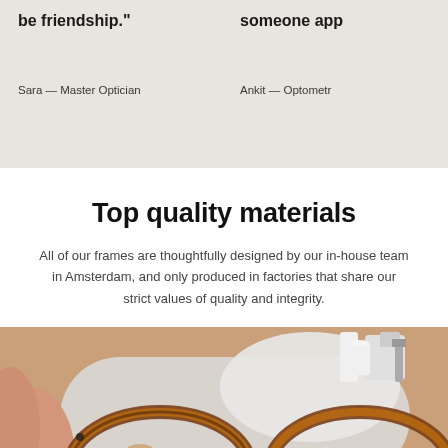be friendship."
Sara — Master Optician
someone app
Ankit — Optometr
Top quality materials
All of our frames are thoughtfully designed by our in-house team in Amsterdam, and only produced in factories that share our strict values of quality and integrity.
[Figure (photo): Close-up photo of tortoiseshell eyeglasses frames resting on a white surface, with a finger visible and manufacturing equipment in the background]